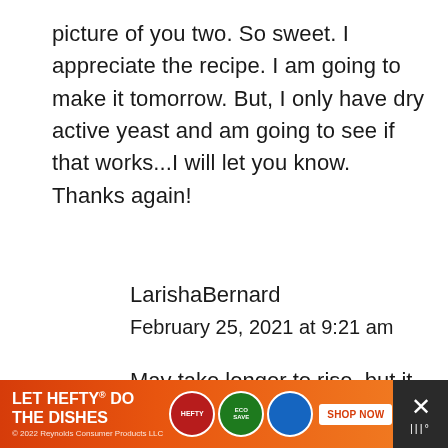picture of you two. So sweet. I appreciate the recipe. I am going to make it tomorrow. But, I only have dry active yeast and am going to see if that works...I will let you know. Thanks again!
REPLY
LarishaBernard
February 25, 2021 at 9:21 am
May take longer to rise, but it will still
[Figure (other): Advertisement banner at the bottom: orange background with 'LET HEFTY DO THE DISHES' text, product images, SHOP NOW button, and a dark close button on the right.]